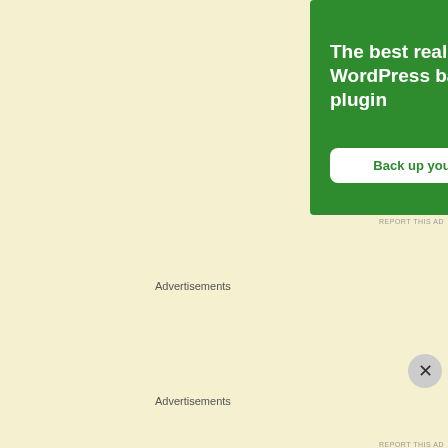[Figure (infographic): Green advertisement banner for WordPress backup plugin. Text reads 'The best real-time WordPress backup plugin' with a 'Back up your site' button.]
REPORT THIS AD
Advertisements
[Figure (logo): Automattic company logo advertisement on white background with a horizontal separator line above. Logo shows 'AUTOMATTIC' with a circular compass/target icon replacing the 'O'.]
Advertisements
[Figure (infographic): Seamless food delivery advertisement banner on dark background. Shows pizza slices on left, Seamless logo in red badge in center, and 'ORDER NOW' button outline on right.]
REPORT THIS AD